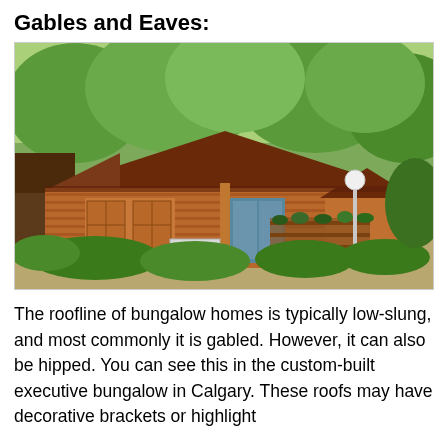Gables and Eaves:
[Figure (photo): A small wooden bungalow cabin with a gabled roof, horizontal wood plank siding, surrounded by lush green trees and shrubs, with a lamp post and potted plants on the porch area.]
The roofline of bungalow homes is typically low-slung, and most commonly it is gabled. However, it can also be hipped. You can see this in the custom-built executive bungalow in Calgary. These roofs may have decorative brackets or highlight